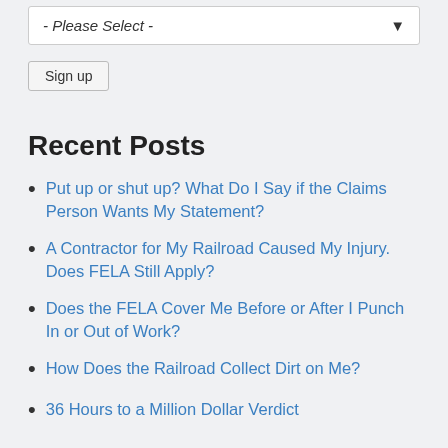- Please Select -
Sign up
Recent Posts
Put up or shut up?  What Do I Say if the Claims Person Wants My Statement?
A Contractor for My Railroad Caused My Injury. Does FELA Still Apply?
Does the FELA Cover Me Before or After I Punch In or Out of Work?
How Does the Railroad Collect Dirt on Me?
36 Hours to a Million Dollar Verdict